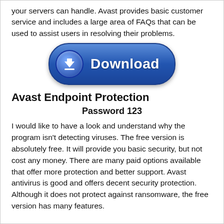your servers can handle. Avast provides basic customer service and includes a large area of FAQs that can be used to assist users in resolving their problems.
[Figure (illustration): A blue rounded-rectangle download button with a circular arrow icon on the left and the text 'Download' in white bold lettering on the right.]
Avast Endpoint Protection
Password 123
I would like to have a look and understand why the program isn't detecting viruses. The free version is absolutely free. It will provide you basic security, but not cost any money. There are many paid options available that offer more protection and better support. Avast antivirus is good and offers decent security protection. Although it does not protect against ransomware, the free version has many features.